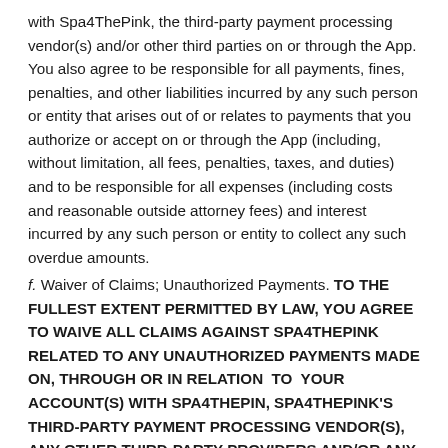with Spa4ThePink, the third-party payment processing vendor(s) and/or other third parties on or through the App. You also agree to be responsible for all payments, fines, penalties, and other liabilities incurred by any such person or entity that arises out of or relates to payments that you authorize or accept on or through the App (including, without limitation, all fees, penalties, taxes, and duties) and to be responsible for all expenses (including costs and reasonable outside attorney fees) and interest incurred by any such person or entity to collect any such overdue amounts.
f. Waiver of Claims; Unauthorized Payments. TO THE FULLEST EXTENT PERMITTED BY LAW, YOU AGREE TO WAIVE ALL CLAIMS AGAINST SPA4THEPINK RELATED TO ANY UNAUTHORIZED PAYMENTS MADE ON, THROUGH OR IN RELATION TO YOUR ACCOUNT(S) WITH SPA4THEPIN, SPA4THEPINK'S THIRD-PARTY PAYMENT PROCESSING VENDOR(S), ANY OTHER THIRD-PARTY PROVIDERS AND/OR ANY